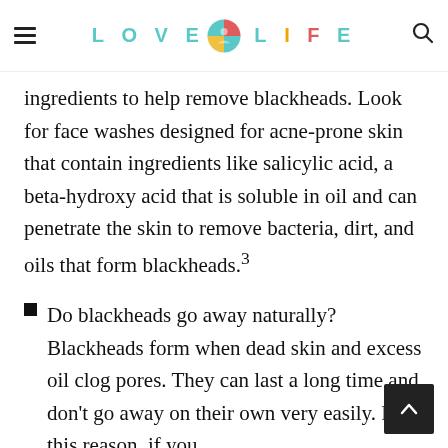LOVE LIFE (logo)
ingredients to help remove blackheads. Look for face washes designed for acne-prone skin that contain ingredients like salicylic acid, a beta-hydroxy acid that is soluble in oil and can penetrate the skin to remove bacteria, dirt, and oils that form blackheads.3
Do blackheads go away naturally? Blackheads form when dead skin and excess oil clog pores. They can last a long time and don't go away on their own very easily. For this reason, if you